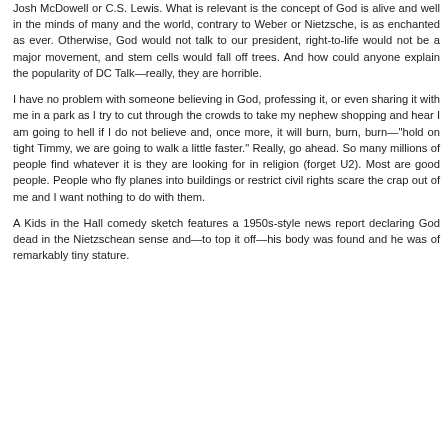Josh McDowell or C.S. Lewis. What is relevant is the concept of God is alive and well in the minds of many and the world, contrary to Weber or Nietzsche, is as enchanted as ever. Otherwise, God would not talk to our president, right-to-life would not be a major movement, and stem cells would fall off trees. And how could anyone explain the popularity of DC Talk—really, they are horrible.
I have no problem with someone believing in God, professing it, or even sharing it with me in a park as I try to cut through the crowds to take my nephew shopping and hear I am going to hell if I do not believe and, once more, it will burn, burn, burn—"hold on tight Timmy, we are going to walk a little faster." Really, go ahead. So many millions of people find whatever it is they are looking for in religion (forget U2). Most are good people. People who fly planes into buildings or restrict civil rights scare the crap out of me and I want nothing to do with them.
A Kids in the Hall comedy sketch features a 1950s-style news report declaring God dead in the Nietzschean sense and—to top it off—his body was found and he was of remarkably tiny stature.